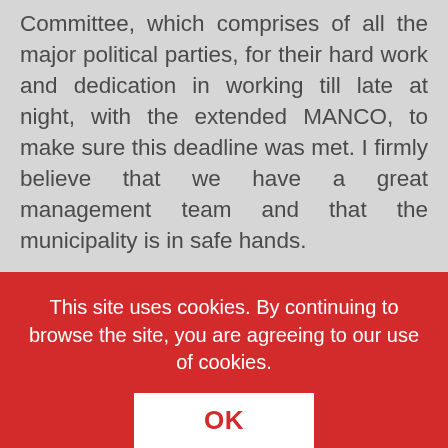Committee, which comprises of all the major political parties, for their hard work and dedication in working till late at night, with the extended MANCO, to make sure this deadline was met. I firmly believe that we have a great management team and that the municipality is in safe hands.

The Acting Municipal Manager during the
This site uses cookies. By continuing to browse the site, you are agreeing to our use of cookies.
OK